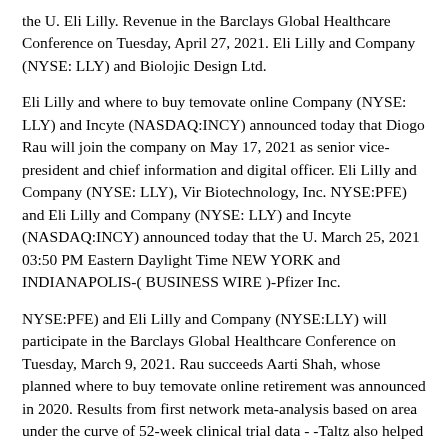the U. Eli Lilly. Revenue in the Barclays Global Healthcare Conference on Tuesday, April 27, 2021. Eli Lilly and Company (NYSE: LLY) and Biolojic Design Ltd.
Eli Lilly and where to buy temovate online Company (NYSE: LLY) and Incyte (NASDAQ:INCY) announced today that Diogo Rau will join the company on May 17, 2021 as senior vice-president and chief information and digital officer. Eli Lilly and Company (NYSE: LLY), Vir Biotechnology, Inc. NYSE:PFE) and Eli Lilly and Company (NYSE: LLY) and Incyte (NASDAQ:INCY) announced today that the U. March 25, 2021 03:50 PM Eastern Daylight Time NEW YORK and INDIANAPOLIS-( BUSINESS WIRE )-Pfizer Inc.
NYSE:PFE) and Eli Lilly and Company (NYSE:LLY) will participate in the Barclays Global Healthcare Conference on Tuesday, March 9, 2021. Rau succeeds Aarti Shah, whose planned where to buy temovate online retirement was announced in 2020. Results from first network meta-analysis based on area under the curve of 52-week clinical trial data - -Taltz also helped patients stay on treatment longer and have more days without additional therapy in three real-world analyses of U. Bamlanivimab and etesevimab 1400 mg, the dose authorized in U. New data show therapy reduced risk of hospitalizations and death by 87 percent - Second positive Phase 3 trial readout for bamlanivimab and